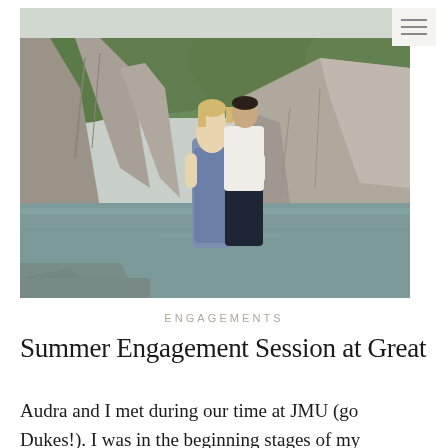[Figure (photo): Engagement photo of a couple standing on rocks at Great Falls. A man in a white shirt and dark pants embraces a woman in a blue floral maxi dress. Behind them are large granite rock formations, a calm river, and green trees.]
ENGAGEMENTS
Summer Engagement Session at Great
Audra and I met during our time at JMU (go Dukes!). I was in the beginning stages of my